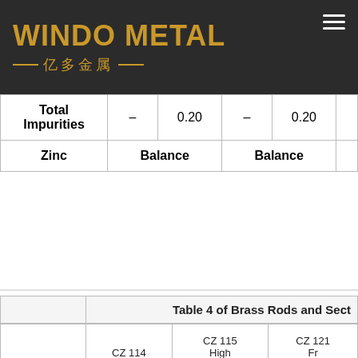[Figure (logo): Windo Metal logo with Chinese characters 亿多金属 on dark background]
|  |  |  |  |  |
| --- | --- | --- | --- | --- |
| Total Impurities | – | 0.20 | – | 0.20 |
| Zinc | Balance |  | Balance |  |
Table 4 of Brass Rods and Sect
| Name | CZ 114 Brass Rods | CZ 115 High Tensile Brass Rods | CZ 121 Free Cutting Brass Rods |  |
| --- | --- | --- | --- | --- |